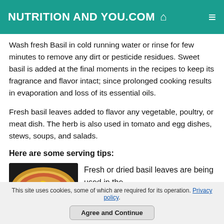NUTRITION AND YOU.COM
Wash fresh Basil in cold running water or rinse for few minutes to remove any dirt or pesticide residues. Sweet basil is added at the final moments in the recipes to keep its fragrance and flavor intact; since prolonged cooking results in evaporation and loss of its essential oils.
Fresh basil leaves added to flavor any vegetable, poultry, or meat dish. The herb is also used in tomato and egg dishes, stews, soups, and salads.
Here are some serving tips:
[Figure (photo): Photo of a pizza topped with colorful vegetables and basil leaves on a dark background]
Fresh or dried basil leaves are being used in the
This site uses cookies, some of which are required for its operation. Privacy policy.